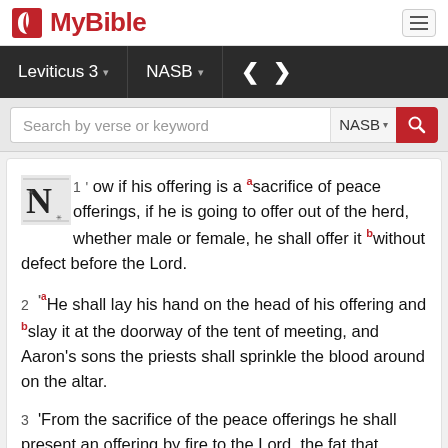MyBible
Leviticus 3 | NASB | Navigation
Search by verse or keyword | NASB
1 ' Now if his offering is a [a]sacrifice of peace offerings, if he is going to offer out of the herd, whether male or female, he shall offer it [b]without defect before the Lord.
2 '[a]He shall lay his hand on the head of his offering and [b]slay it at the doorway of the tent of meeting, and Aaron's sons the priests shall sprinkle the blood around on the altar.
3 'From the sacrifice of the peace offerings he shall present an offering by fire to the Lord, the fat that covers the entrails and all the fat that is on the entrails,